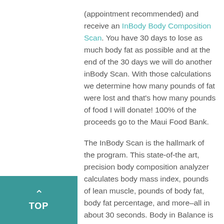(appointment recommended) and receive an InBody Body Composition Scan. You have 30 days to lose as much body fat as possible and at the end of the 30 days we will do another inBody Scan. With those calculations we determine how many pounds of fat were lost and that's how many pounds of food I will donate! 100% of the proceeds go to the Maui Food Bank.

The InBody Scan is the hallmark of the program. This state-of-the art, precision body composition analyzer calculates body mass index, pounds of lean muscle, pounds of body fat, body fat percentage, and more–all in about 30 seconds. Body in Balance is the only facility in the state of Hawaii to own this remarkable piece of
[Figure (other): Teal/green square button with upward chevron arrow and text 'TOP']